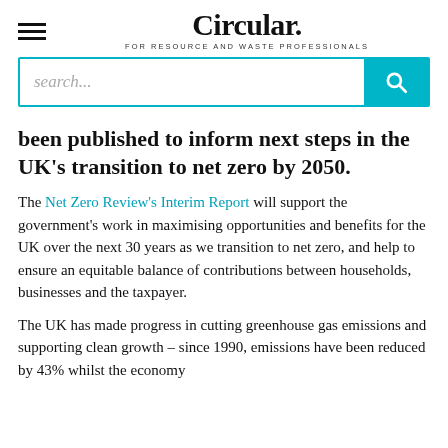Circular. FOR RESOURCE AND WASTE PROFESSIONALS
been published to inform next steps in the UK's transition to net zero by 2050.
The Net Zero Review's Interim Report will support the government's work in maximising opportunities and benefits for the UK over the next 30 years as we transition to net zero, and help to ensure an equitable balance of contributions between households, businesses and the taxpayer.
The UK has made progress in cutting greenhouse gas emissions and supporting clean growth – since 1990, emissions have been reduced by 43% whilst the economy